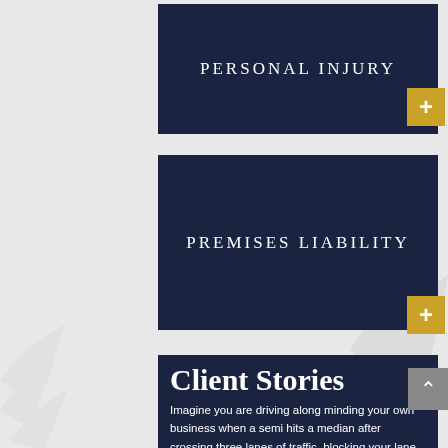PERSONAL INJURY
PREMISES LIABILITY
Client Stories
Imagine you are driving along minding your own business when a semi hits a median after crossing three lanes of traffic, blocking your lane. Unable to stop in time, you strike the truck's cab with your much